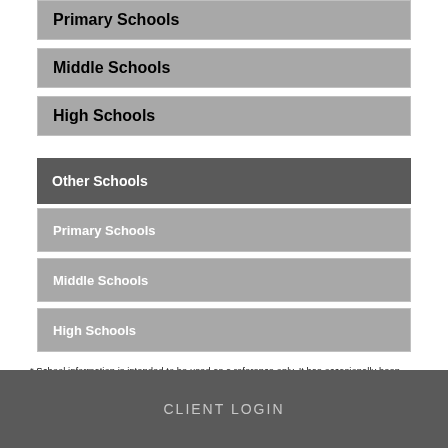Primary Schools
Middle Schools
High Schools
Other Schools
Primary Schools
Middle Schools
High Schools
* School information is intended to be used as a reference only. It has occasionally been found to not be accurate or the most current information. You should independently verify enrollment eligibility or academic performance data, to do so please contact the school directly.
CLIENT LOGIN